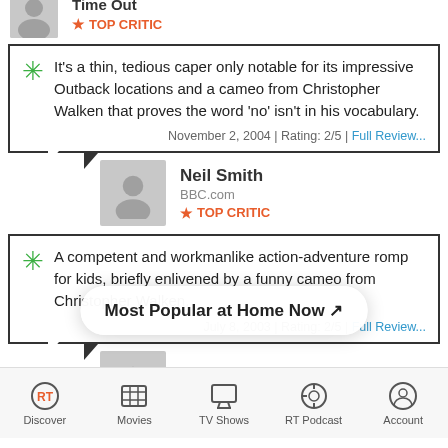Time Out — TOP CRITIC
It's a thin, tedious caper only notable for its impressive Outback locations and a cameo from Christopher Walken that proves the word 'no' isn't in his vocabulary. November 2, 2004 | Rating: 2/5 | Full Review...
Neil Smith — BBC.com — TOP CRITIC
A competent and workmanlike action-adventure romp for kids, briefly enlivened by a funny cameo from Christopher Walken. July 8, 2003 | Rating: 2/5 | Full Review...
Most Popular at Home Now
TOP CRITIC